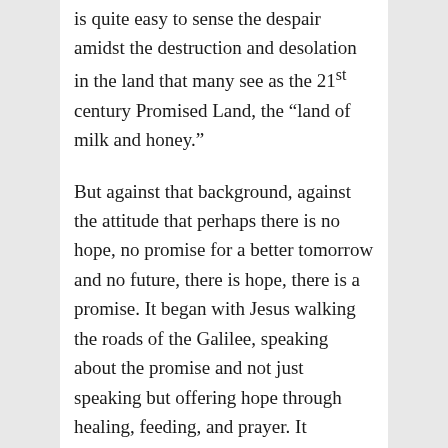is quite easy to sense the despair amidst the destruction and desolation in the land that many see as the 21st century Promised Land, the “land of milk and honey.”
But against that background, against the attitude that perhaps there is no hope, no promise for a better tomorrow and no future, there is hope, there is a promise. It began with Jesus walking the roads of the Galilee, speaking about the promise and not just speaking but offering hope through healing, feeding, and prayer. It continued with Paul offering advice to Timothy, his successor.
Paul told Timothy to stick with what he, Timothy had learned, as the one who had...